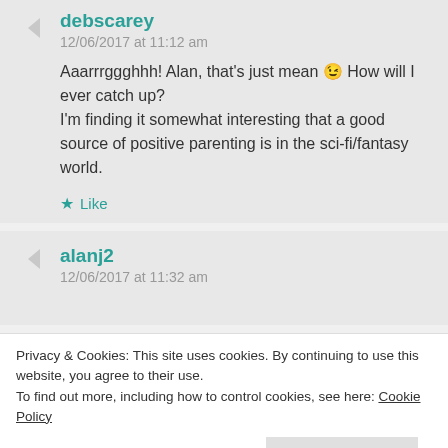debscarey
12/06/2017 at 11:12 am
Aaarrrggghhh! Alan, that's just mean 😉 How will I ever catch up?
I'm finding it somewhat interesting that a good source of positive parenting is in the sci-fi/fantasy world.
Like
alanj2
12/06/2017 at 11:32 am
Privacy & Cookies: This site uses cookies. By continuing to use this website, you agree to their use.
To find out more, including how to control cookies, see here: Cookie Policy
Close and accept
Sort Of Thing. You don't miss much of the plot and